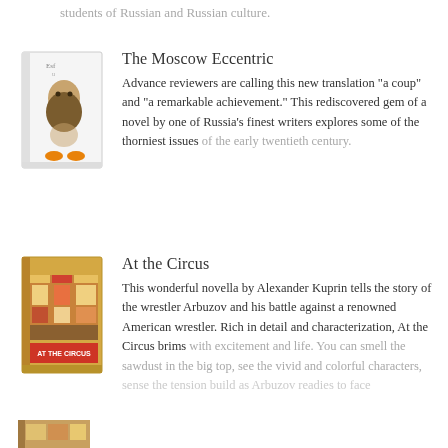students of Russian and Russian culture.
[Figure (illustration): Book cover for The Moscow Eccentric, showing a stylized illustrated figure with a large beard and orange shoes on a white background]
The Moscow Eccentric
Advance reviewers are calling this new translation "a coup" and "a remarkable achievement." This rediscovered gem of a novel by one of Russia's finest writers explores some of the thorniest issues of the early twentieth century.
[Figure (illustration): Book cover for At the Circus, showing a colorful market or circus scene with stalls and goods on display]
At the Circus
This wonderful novella by Alexander Kuprin tells the story of the wrestler Arbuzov and his battle against a renowned American wrestler. Rich in detail and characterization, At the Circus brims with excitement and life. You can smell the sawdust in the big top, see the vivid and colorful characters, sense the tension build as Arbuzov readies to face...